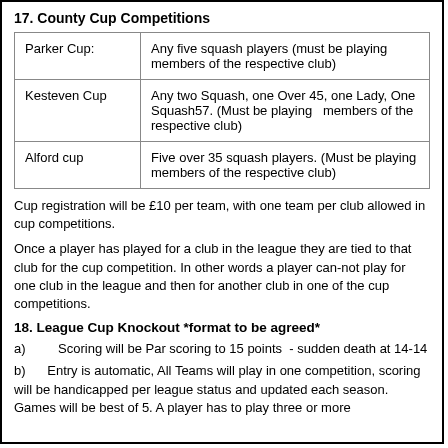17. County Cup Competitions
| Cup | Requirements |
| --- | --- |
| Parker Cup: | Any five squash players (must be playing members of the respective club) |
| Kesteven Cup | Any two Squash, one Over 45, one Lady, One Squash57. (Must be playing   members of the respective club) |
| Alford cup | Five over 35 squash players. (Must be playing members of the respective club) |
Cup registration will be £10 per team, with one team per club allowed in cup competitions.
Once a player has played for a club in the league they are tied to that club for the cup competition. In other words a player can-not play for one club in the league and then for another club in one of the cup competitions.
18. League Cup Knockout *format to be agreed*
a)         Scoring will be Par scoring to 15 points  - sudden death at 14-14
b)        Entry is automatic, All Teams will play in one competition, scoring will be handicapped per league status and updated each season. Games will be best of 5. A player has to play three or more